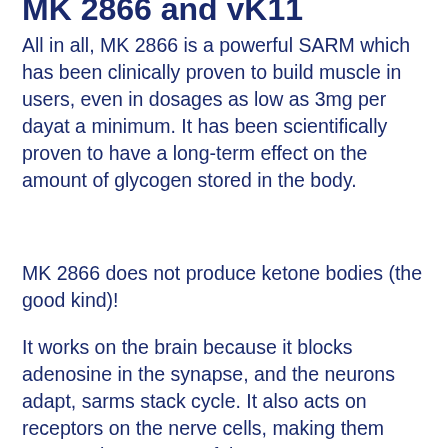MK 2866 and yK11
All in all, MK 2866 is a powerful SARM which has been clinically proven to build muscle in users, even in dosages as low as 3mg per dayat a minimum. It has been scientifically proven to have a long-term effect on the amount of glycogen stored in the body.
MK 2866 does not produce ketone bodies (the good kind)!
It works on the brain because it blocks adenosine in the synapse, and the neurons adapt, sarms stack cycle. It also acts on receptors on the nerve cells, making them more and more powerful.
MK 2866 has a long list of side effects, like dizziness, weakness, depression, diarrhea, stomach problems etc, ostarine dosage francais., ostarine dosage